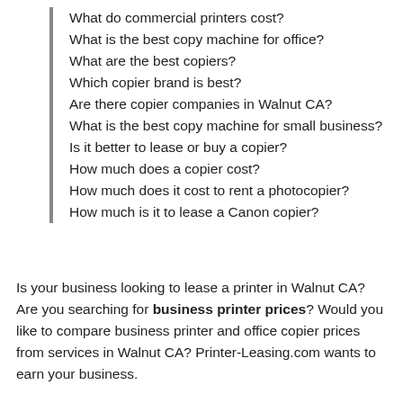What do commercial printers cost?
What is the best copy machine for office?
What are the best copiers?
Which copier brand is best?
Are there copier companies in Walnut CA?
What is the best copy machine for small business?
Is it better to lease or buy a copier?
How much does a copier cost?
How much does it cost to rent a photocopier?
How much is it to lease a Canon copier?
Is your business looking to lease a printer in Walnut CA? Are you searching for business printer prices? Would you like to compare business printer and office copier prices from services in Walnut CA? Printer-Leasing.com wants to earn your business.